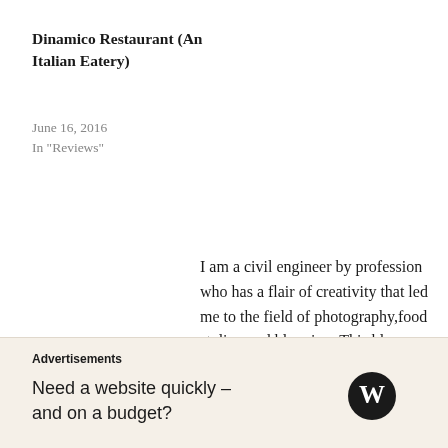Dinamico Restaurant (An Italian Eatery)
June 16, 2016
In "Reviews"
I am a civil engineer by profession who has a flair of creativity that led me to the field of photography,food styling and blogging. This blog focuses my reviewing sessions of new food joints, spas, products and travel
Advertisements
Need a website quickly – and on a budget?